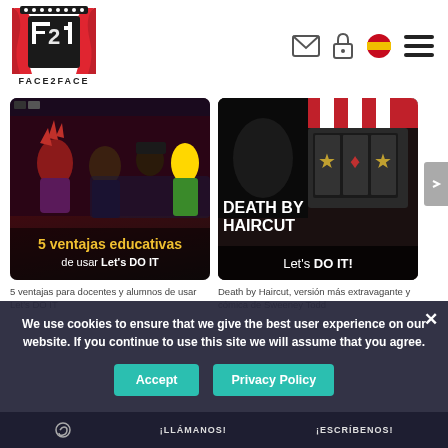[Figure (logo): Face2Face theater logo with red curtains and F2F text]
[Figure (screenshot): Left thumbnail: animated characters with text '5 ventajas educativas de usar Let's DO IT']
[Figure (screenshot): Right thumbnail: Death By Haircut slot-style image with text 'DEATH BY HAIRCUT' and 'Let's DO IT!']
5 ventajas para docentes y alumnos de usar Let's DO IT
Death by Haircut, versión más extravagante y cómica de Sweeney Todd
We use cookies to ensure that we give the best user experience on our website. If you continue to use this site we will assume that you agree.
Accept
Privacy Policy
¡LLÁMANOS! ¡ESCRÍBENOS!